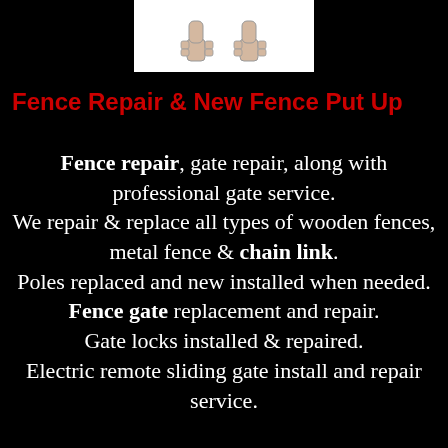[Figure (illustration): Two cartoon thumbs-up hands on a white background]
Fence Repair & New Fence Put Up
Fence repair, gate repair, along with professional gate service. We repair & replace all types of wooden fences, metal fence & chain link. Poles replaced and new installed when needed. Fence gate replacement and repair. Gate locks installed & repaired. Electric remote sliding gate install and repair service.